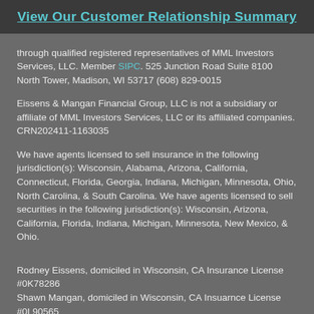View Our Customer Relationship Summary
through qualified registered representatives of MML Investors Services, LLC. Member SIPC. 525 Junction Road Suite 8100 North Tower, Madison, WI 53717 (608) 829-0015
Eissens & Mangan Financial Group, LLC is not a subsidiary or affiliate of MML Investors Services, LLC or its affiliated companies. CRN202411-1163035
We have agents licensed to sell insurance in the following jurisdiction(s): Wisconsin, Alabama, Arizona, California, Connecticut, Florida, Georgia, Indiana, Michigan, Minnesota, Ohio, North Carolina, & South Carolina. We have agents licensed to sell securities in the following jurisdiction(s): Wisconsin, Arizona, California, Florida, Indiana, Michigan, Minnesota, New Mexico, & Ohio.
Rodney Eissens, domiciled in Wisconsin, CA Insurance License #0K78286
Shawn Mangan, domiciled in Wisconsin, CA Insuarnce License #0L90565
The information contained in this article is for general use and